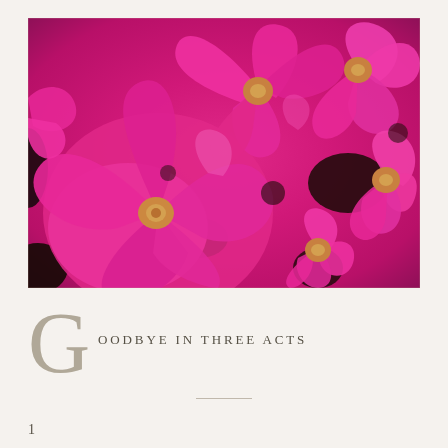[Figure (photo): Close-up photograph of bright magenta/hot pink petunia flowers filling the entire frame, with dark green foliage visible between the blooms]
GOODBYE IN THREE ACTS
1